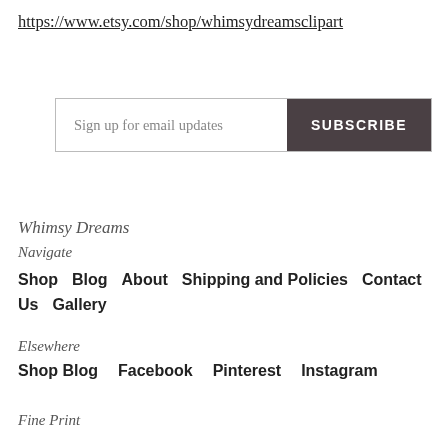https://www.etsy.com/shop/whimsydreamsclipart
[Figure (screenshot): Email subscription widget with 'Sign up for email updates' input field and dark 'SUBSCRIBE' button]
Whimsy Dreams
Navigate
Shop  Blog  About  Shipping and Policies  Contact Us  Gallery
Elsewhere
Shop Blog  Facebook  Pinterest  Instagram
Fine Print